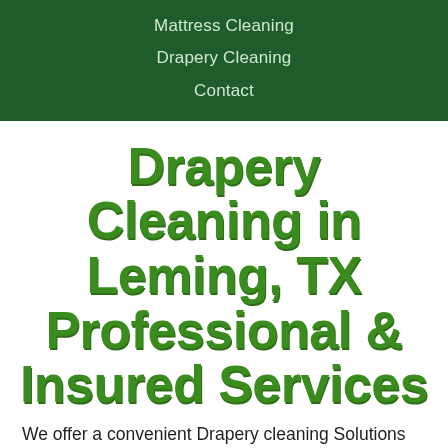Mattress Cleaning
Drapery Cleaning
Contact
Drapery Cleaning in Leming, TX Professional & Insured Services
We offer a convenient Drapery cleaning Solutions by using Eco-Friendly Cleaning products. We will remove all stains, soil, dust, pollen, smoke and any odors that have accumulated in your drapery over the years.